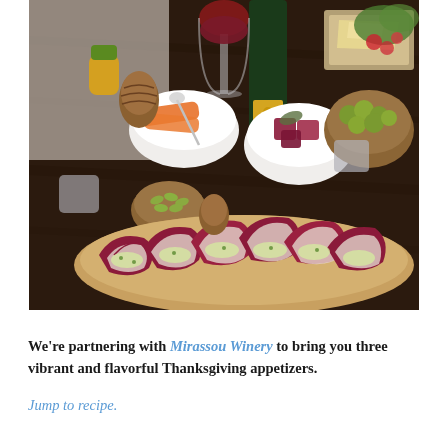[Figure (photo): A festive Thanksgiving appetizer spread on a dark wooden table featuring a long wooden platter with radicchio leaf cups filled with shredded vegetables, bowls of beets, carrots, pumpkin seeds, and green olives, a lit candle, pine cones, and a bottle of Mirassou Pinot Noir wine with a glass of red wine.]
We're partnering with Mirassou Winery to bring you three vibrant and flavorful Thanksgiving appetizers. Jump to recipe.